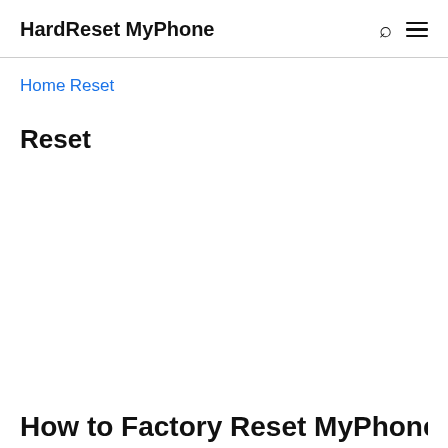HardReset MyPhone
Home Reset
Reset
How to Factory Reset MyPhone Smart Tab...